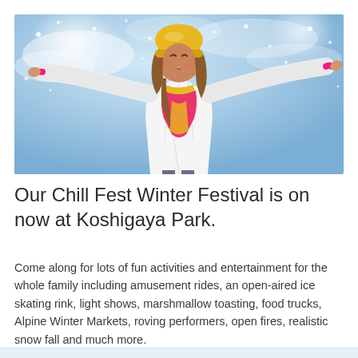[Figure (photo): A young girl with arms outstretched joyfully in a snowy winter scene, wearing a white jacket, yellow knit hat, pink and yellow scarf, with snow falling in a blue sky background]
Our Chill Fest Winter Festival is on now at Koshigaya Park.
Come along for lots of fun activities and entertainment for the whole family including amusement rides, an open-aired ice skating rink, light shows, marshmallow toasting, food trucks, Alpine Winter Markets, roving performers, open fires, realistic snow fall and much more.